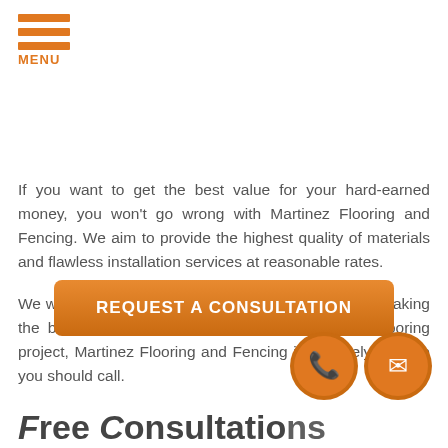[Figure (infographic): Orange hamburger menu icon with three horizontal bars and MENU label below]
If you want to get the best value for your hard-earned money, you won't go wrong with Martinez Flooring and Fencing. We aim to provide the highest quality of materials and flawless installation services at reasonable rates.

We want to help you get your dream floors without breaking the bank. So for your Englewood, NJ hardwood flooring project, Martinez Flooring and Fencing is definitely the one you should call.
[Figure (infographic): Orange rounded rectangle button with text REQUEST A CONSULTATION, plus orange circular phone icon and orange circular mail icon]
Free Consultations